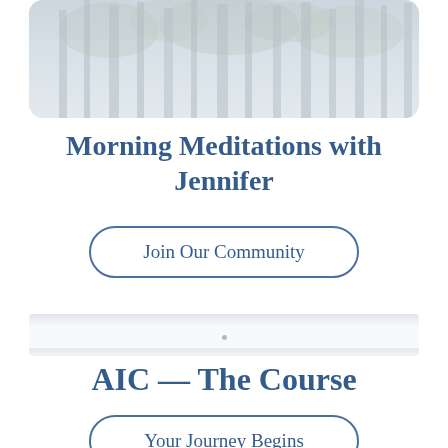[Figure (photo): A misty forest scene with tall trees partially obscured by fog, with soft green foliage visible in the background. The image has a dreamy, serene quality with cool blue-gray tones.]
Morning Meditations with Jennifer
Join Our Community
AIC — The Course
Your Journey Begins